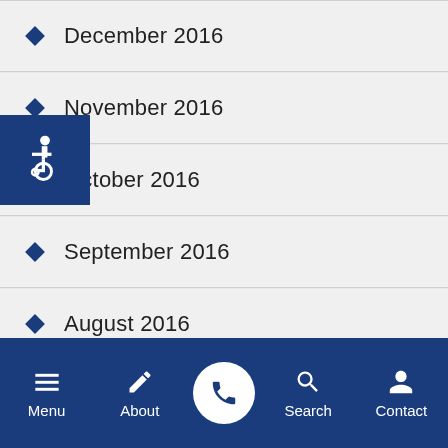December 2016
November 2016
October 2016
September 2016
August 2016
July 2016
[Figure (illustration): Accessibility widget with wheelchair icon in blue square]
Menu | About | Phone | Search | Contact